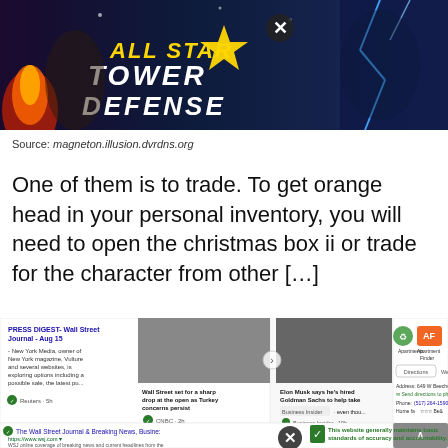[Figure (screenshot): All Star Tower Defense game advertisement banner with anime characters and logo text]
Source: magneton.illusion.dvrdns.org
One of them is to trade. To get orange head in your personal inventory, you will need to open the christmas box ii or trade for the character from other [...]
[Figure (screenshot): Screenshot of a web search results page showing Bing News articles about Wall Street Journal, CNBC, and Business Insider, along with an Apartments.com listing and website trust indicator for businessinsider.com]